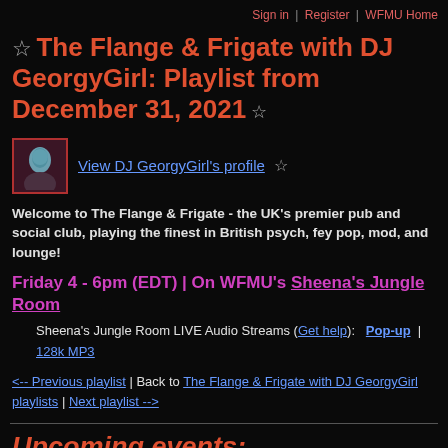Sign in | Register | WFMU Home
☆ The Flange & Frigate with DJ GeorgyGirl: Playlist from December 31, 2021 ☆
View DJ GeorgyGirl's profile ☆
Welcome to The Flange & Frigate - the UK's premier pub and social club, playing the finest in British psych, fey pop, mod, and lounge!
Friday 4 - 6pm (EDT) | On WFMU's Sheena's Jungle Room
Sheena's Jungle Room LIVE Audio Streams (Get help): Pop-up | 128k MP3
<-- Previous playlist | Back to The Flange & Frigate with DJ GeorgyGirl playlists | Next playlist -->
Upcoming events: